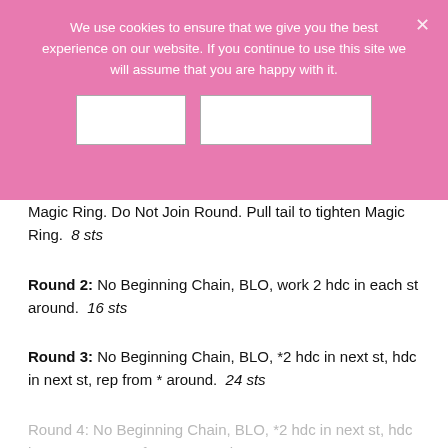We use cookies to ensure that we give you the best experience on our website. If you continue to use this site we will assume that you are happy with it.
Magic Ring. Do Not Join Round. Pull tail to tighten Magic Ring.  8 sts
Round 2: No Beginning Chain, BLO, work 2 hdc in each st around.  16 sts
Round 3: No Beginning Chain, BLO, *2 hdc in next st, hdc in next st, rep from * around.  24 sts
Round 4: No Beginning Chain, BLO, *2 hdc in next st, hdc in next 2 sts, rep from * around.  32 sts